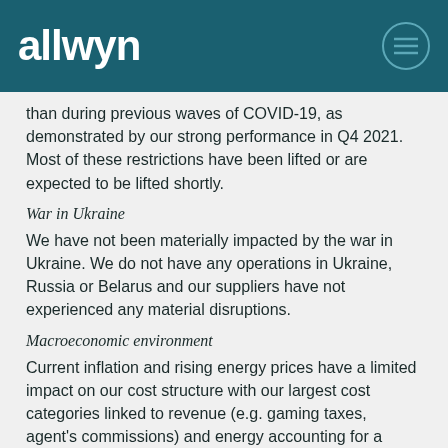allwyn
than during previous waves of COVID-19, as demonstrated by our strong performance in Q4 2021. Most of these restrictions have been lifted or are expected to be lifted shortly.
War in Ukraine
We have not been materially impacted by the war in Ukraine. We do not have any operations in Ukraine, Russia or Belarus and our suppliers have not experienced any material disruptions.
Macroeconomic environment
Current inflation and rising energy prices have a limited impact on our cost structure with our largest cost categories linked to revenue (e.g. gaming taxes, agent's commissions) and energy accounting for a small proportion of our costs.